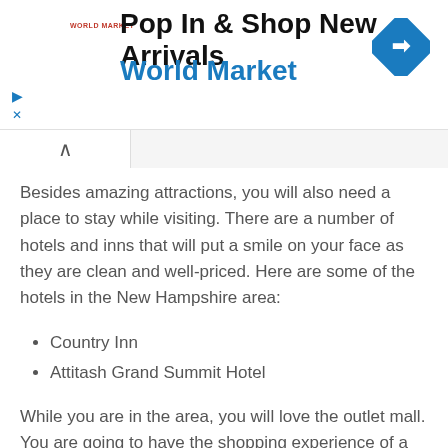[Figure (infographic): World Market advertisement banner with logo, text 'Pop In & Shop New Arrivals', 'World Market', and a blue diamond navigation icon]
Besides amazing attractions, you will also need a place to stay while visiting. There are a number of hotels and inns that will put a smile on your face as they are clean and well-priced. Here are some of the hotels in the New Hampshire area:
Country Inn
Attitash Grand Summit Hotel
Beacon Resort
Bartlett Inn
While you are in the area, you will love the outlet mall. You are going to have the shopping experience of a lifetime there as they have all types